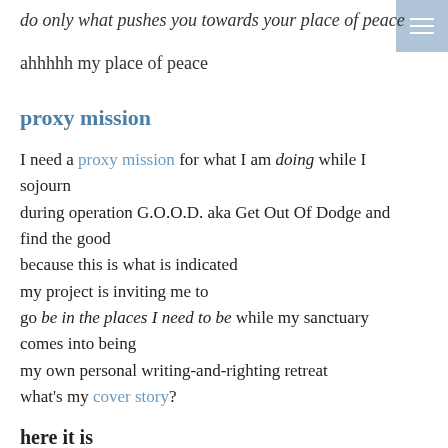do only what pushes you towards your place of peace
ahhhhh my place of peace
proxy mission
I need a proxy mission for what I am doing while I sojourn
during operation G.O.O.D. aka Get Out Of Dodge and find the good
because this is what is indicated
my project is inviting me to
go be in the places I need to be while my sanctuary comes into being
my own personal writing-and-righting retreat
what's my cover story?
here it is
my fake secret mission is that I build sanctuaries